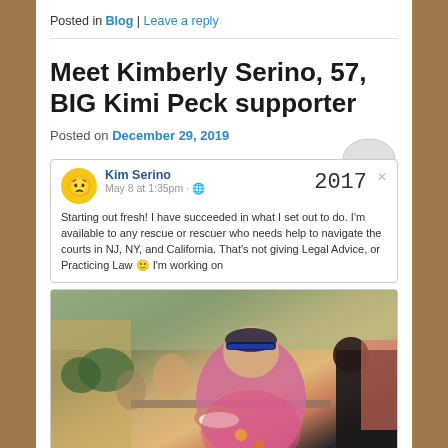Posted in Blog | Leave a reply
Meet Kimberly Serino, 57, BIG Kimi Peck supporter
Posted on December 29, 2019
[Figure (screenshot): Facebook post screenshot by Kim Serino, May 8 at 1:35pm, with handwritten '2017' and text: Starting out fresh! I have succeeded in what I set out to do. I'm available to any rescue or rescuer who needs help to navigate the courts in NJ, NY, and California. That's not giving Legal Advice, or Practicing Law :) I'm working on]
[Figure (photo): Photo of a heavy-set woman in a pink tank top sitting outdoors at what appears to be an outdoor event or barbecue, holding a plate of food. Other people visible in the background.]